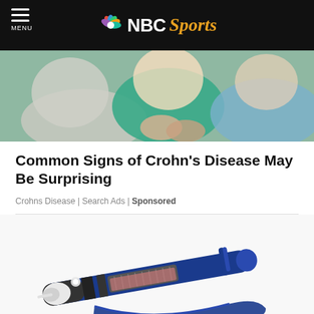NBC Sports
[Figure (photo): Hero image showing a person holding their stomach area, suggesting abdominal discomfort]
Common Signs of Crohn's Disease May Be Surprising
Crohns Disease | Search Ads | Sponsored
[Figure (photo): Photo of a blue insulin pen / auto-injector medical device on a white background]